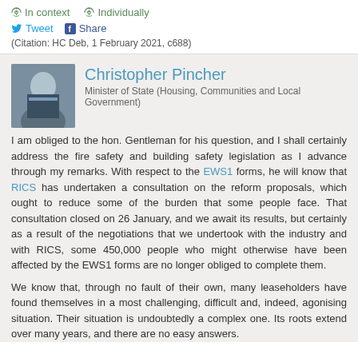In context   Individually
Tweet   Share
(Citation: HC Deb, 1 February 2021, c688)
Christopher Pincher
Minister of State (Housing, Communities and Local Government)
I am obliged to the hon. Gentleman for his question, and I shall certainly address the fire safety and building safety legislation as I advance through my remarks. With respect to the EWS1 forms, he will know that RICS has undertaken a consultation on the reform proposals, which ought to reduce some of the burden that some people face. That consultation closed on 26 January, and we await its results, but certainly as a result of the negotiations that we undertook with the industry and with RICS, some 450,000 people who might otherwise have been affected by the EWS1 forms are no longer obliged to complete them.
We know that, through no fault of their own, many leaseholders have found themselves in a most challenging, difficult and, indeed, agonising situation. Their situation is undoubtedly a complex one. Its roots extend over many years, and there are no easy answers.